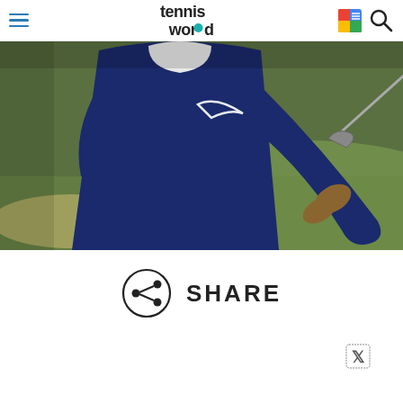Tennis World - navigation header with hamburger menu, logo, Google News icon, and search icon
[Figure (photo): A golfer wearing a navy blue Nike sweater holding an iron golf club on a golf course green. The person's face is partially obscured. Shot from a low angle showing the upper body and club.]
SHARE
[Figure (logo): X (Twitter) logo in decorative/stamp style]